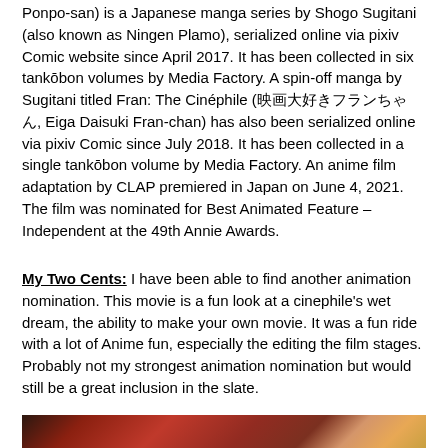Ponpo-san) is a Japanese manga series by Shogo Sugitani (also known as Ningen Plamo), serialized online via pixiv Comic website since April 2017. It has been collected in six tankōbon volumes by Media Factory. A spin-off manga by Sugitani titled Fran: The Cinéphile (映画大好きフランちゃん, Eiga Daisuki Fran-chan) has also been serialized online via pixiv Comic since July 2018. It has been collected in a single tankōbon volume by Media Factory. An anime film adaptation by CLAP premiered in Japan on June 4, 2021. The film was nominated for Best Animated Feature – Independent at the 49th Annie Awards.
My Two Cents: I have been able to find another animation nomination. This movie is a fun look at a cinephile's wet dream, the ability to make your own movie. It was a fun ride with a lot of Anime fun, especially the editing the film stages. Probably not my strongest animation nomination but would still be a great inclusion in the slate.
[Figure (photo): Anime screenshot showing a female character with long orange/yellow hair and a green bow, set against red curtains, from the film Pompo the Cinephile]